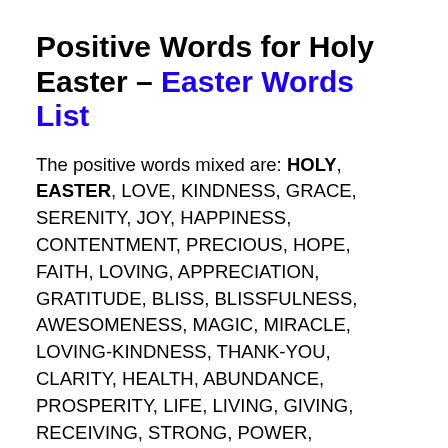Positive Words for Holy Easter – Easter Words List
The positive words mixed are: HOLY, EASTER, LOVE, KINDNESS, GRACE, SERENITY, JOY, HAPPINESS, CONTENTMENT, PRECIOUS, HOPE, FAITH, LOVING, APPRECIATION, GRATITUDE, BLISS, BLISSFULNESS, AWESOMENESS, MAGIC, MIRACLE, LOVING-KINDNESS, THANK-YOU, CLARITY, HEALTH, ABUNDANCE, PROSPERITY, LIFE, LIVING, GIVING, RECEIVING, STRONG, POWER, FREEDOM, AWESOME, SUPER, FABULOUS, PURE, FORGIVENESS, CELEBRATION,